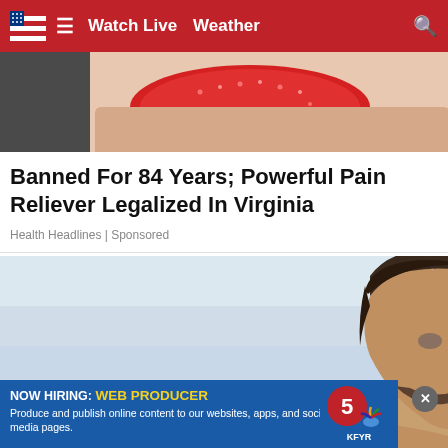Watch Live  Weather
[Figure (photo): Close-up of a red gummy candy being held by a hand, top portion of article image]
Banned For 84 Years; Powerful Pain Reliever Legalized In Virginia
Health Headlines | Sponsored
[Figure (photo): Side profile of a middle-aged man with dark hair looking at a smartphone, outdoors with blue sky background]
NOW HIRING: WEB PRODUCER Produce and publish online content to our websites, apps, and social media pages.